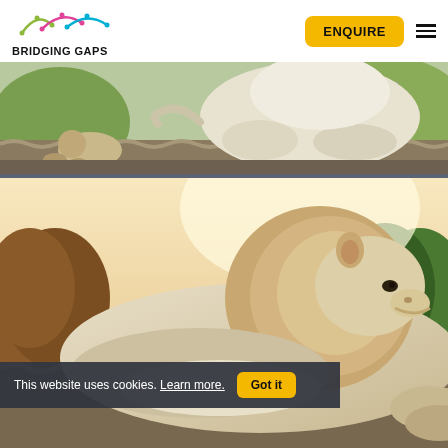[Figure (logo): Bridging Gaps logo with colorful arc/bridge icon above bold text BRIDGING GAPS]
[Figure (other): Yellow rounded rectangle button labeled ENQUIRE in bold black text]
[Figure (other): Hamburger menu icon (three horizontal lines)]
[Figure (photo): White lion or large white cat resting on a corrugated roof, viewed from behind/side, with a smaller animal nearby, outdoor setting with fence visible]
[Figure (photo): White lion with full mane resting on corrugated roof, facing right in profile, golden hour outdoor lighting with trees in background]
This website uses cookies. Learn more.
[Figure (other): Got it button in yellow/gold rounded rectangle]